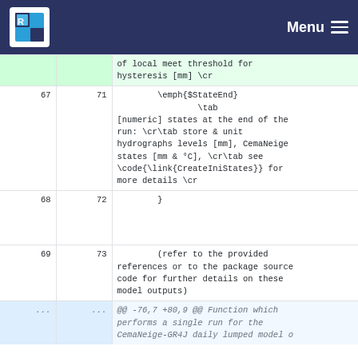Menu
| old | new | code |
| --- | --- | --- |
|  |  | of local meet threshold for hysteresis [mm] \cr |
| 67 | 71 | \emph{$StateEnd}
            \tab
[numeric] states at the end of the run: \cr\tab store & unit hydrographs levels [mm], CemaNeige states [mm & °C], \cr\tab see \code{\link{CreateIniStates}} for more details \cr |
| 68 | 72 | } |
| 69 | 73 | (refer to the provided references or to the package source code for further details on these model outputs) |
| ... | ... | @@ -76,7 +80,9 @@ Function which performs a single run for the CemaNeige-GR4J daily lumped model o |